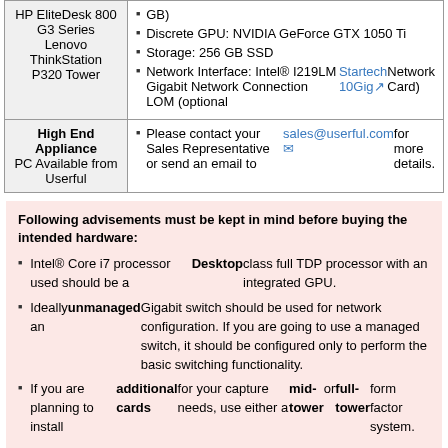| Appliance Type | Specifications |
| --- | --- |
| HP EliteDesk 800 G3 Series
Lenovo ThinkStation P320 Tower | Discrete GPU: NVIDIA GeForce GTX 1050 Ti
Storage: 256 GB SSD
Network Interface: Intel® I219LM Gigabit Network Connection LOM (optional Startech 10Gig Network Card) |
| High End Appliance
PC Available from Userful | Please contact your Sales Representative or send an email to sales@userful.com for more details. |
Following advisements must be kept in mind before buying the intended hardware:
Intel® Core i7 processor used should be a Desktop class full TDP processor with an integrated GPU.
Ideally an unmanaged Gigabit switch should be used for network configuration. If you are going to use a managed switch, it should be configured only to perform the basic switching functionality.
If you are planning to install additional cards for your capture needs, use either a mid-tower or full-tower form factor system.